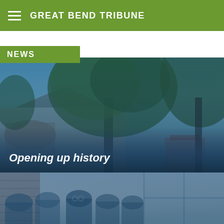GREAT BEND TRIBUNE
NEWS
[Figure (photo): Exterior photo of a historic Victorian-style building with a large tree in front, shown with a blue-tinted overlay. Caption reads 'Opening up history'.]
Opening up history
[Figure (photo): Photo of people seated at a meeting or gathering, shown with a blue-tinted overlay. Large windows visible in the background.]